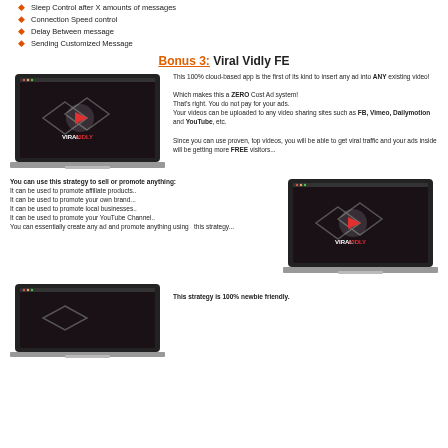Sleep Control after X amounts of messages
Connection Speed control
Delay Between message
Sending Customized Message
Bonus 3: Viral Vidly FE
[Figure (screenshot): Laptop showing Viral Vidly app interface with dark background and logo]
This 100% cloud-based app is the first of its kind to insert any ad into ANY existing video! Which makes this a ZERO Cost Ad system! That's right. You do not pay for your ads. Your videos can be uploaded to any video sharing sites such as FB, Vimeo, Dailymotion and YouTube, etc. Since you can use proven, top videos, you will be able to get viral traffic and your ads inside will be getting more FREE visitors...
You can use this strategy to sell or promote anything: It can be used to promote affiliate products.. It can be used to promote your own brand... It can be used to promote local businesses.. It can be used to promote your YouTube Channel.. You can essentially create any ad and promote anything using this strategy...
[Figure (screenshot): Laptop showing Viral Vidly app interface]
[Figure (screenshot): Laptop showing Viral Vidly app interface bottom]
This strategy is 100% newbie friendly.